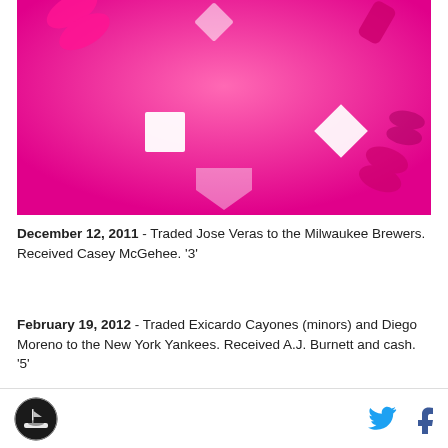[Figure (illustration): Hot pink background with white geometric diamond and square shapes, pink ribbon patterns — appears to be a breast cancer awareness themed image]
December 12, 2011 - Traded Jose Veras to the Milwaukee Brewers. Received Casey McGehee. '3'
February 19, 2012 - Traded Exicardo Cayones (minors) and Diego Moreno to the New York Yankees. Received A.J. Burnett and cash. '5'
Logo | Twitter | Facebook